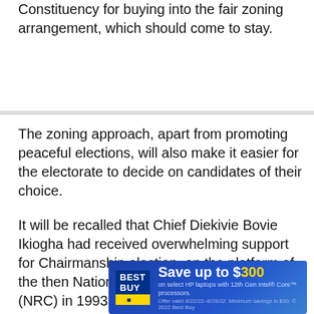Constituency for buying into the fair zoning arrangement, which should come to stay.
The zoning approach, apart from promoting peaceful elections, will also make it easier for the electorate to decide on candidates of their choice.
It will be recalled that Chief Diekivie Bovie Ikiogha had received overwhelming support for Chairmanship election, on the platform of the then National Republican Convention (NRC) in 1993, when the entire Federal Constituency was under the old Yenagoa Local Government Area, but was botched by the Late General Sani Abacha coup. This, n... ance again...
[Figure (other): Best Buy advertisement banner: Save up to $300 on select HP laptops with 12th Gen Intel Core processors. Offer valid 8/22/22-8/28/22. Minimum savings is $30. © 2022 Best Buy]